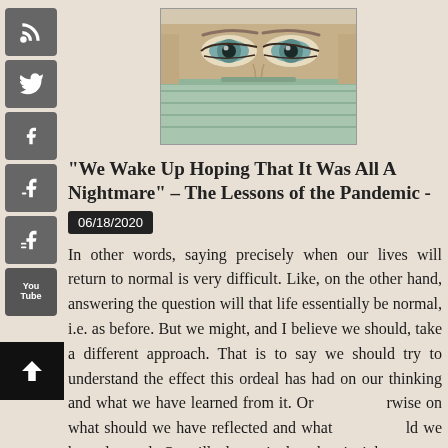[Figure (photo): Close-up photo of a person's eyes above a surgical/medical face mask, suggesting a healthcare worker during pandemic]
“We Wake Up Hoping That It Was All A Nightmare” – The Lessons of the Pandemic -
06/18/2020
In other words, saying precisely when our lives will return to normal is very difficult. Like, on the other hand, answering the question will that life essentially be normal, i.e. as before. But we might, and I believe we should, take a different approach. That is to say we should try to understand the effect this ordeal has had on our thinking and what we have learned from it. Or otherwise on what should we have reflected and what should we have learned. Or still alternatively what insight can we obtain from it, how can our minds